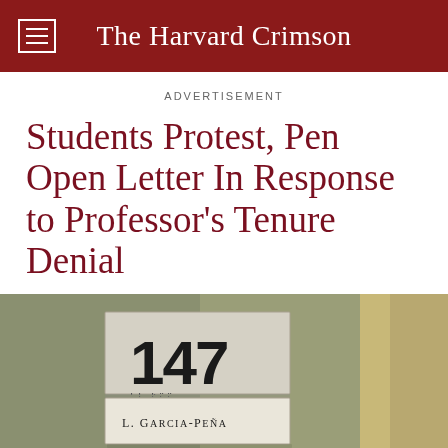The Harvard Crimson
ADVERTISEMENT
Students Protest, Pen Open Letter In Response to Professor's Tenure Denial
[Figure (photo): Photograph of an office door sign showing room number 147 with Braille below, and a name placard reading 'L. Garcia-Peña' in the lower slot. The wall is green-gray, and a door frame is visible on the right.]